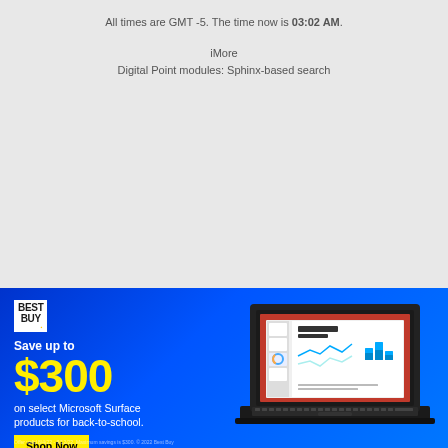All times are GMT -5. The time now is 03:02 AM.
iMore
Digital Point modules: Sphinx-based search
[Figure (infographic): Best Buy advertisement banner with blue gradient background. Shows Best Buy logo, text 'Save up to $300 on select Microsoft Surface products for back-to-school.' with a yellow Shop Now button and an image of a Microsoft Surface laptop showing a PowerPoint presentation with 'Gestural Robotics' slide.]